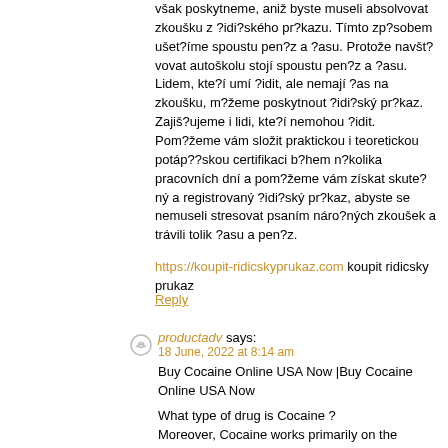však poskytneme, aniž byste museli absolvovat zkoušku z ?idi?ského pr?kazu. Tímto zp?sobem ušet?íme spoustu pen?z a ?asu. Protože navšt?vovat autoškolu stojí spoustu pen?z a ?asu. Lidem, kte?í umí ?idit, ale nemají ?as na zkoušku, m?žeme poskytnout ?idi?ský pr?kaz. Zajiš?ujeme i lidi, kte?í nemohou ?idit.
Pom?žeme vám složit praktickou i teoretickou potáp??skou certifikaci b?hem n?kolika pracovních dní a pom?žeme vám získat skute?ný a registrovaný ?idi?ský pr?kaz, abyste se nemuseli stresovat psaním náro?ných zkoušek a trávili tolik ?asu a pen?z.
https://koupit-ridicskyprukaz.com koupit ridicsky prukaz
Reply
productadv says:
18 June, 2022 at 8:14 am
Buy Cocaine Online USA Now |Buy Cocaine Online USA Now
What type of drug is Cocaine ?
Moreover, Cocaine works primarily on the dopaminergic system in the brain, but also acts as a serotonin–noradrenaline–dopamine reuptake inhibitor (SNDRI). buy cocaine online UK
Image above shows how the cocaine sold on the streets is typically packaged for the end user.
where to buy cocaine online,
order now cocaine online,